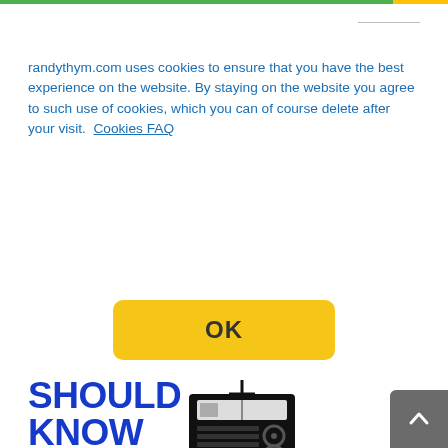randythym.com uses cookies to ensure that you have the best experience on the website. By staying on the website you agree to such use of cookies, which you can of course delete after your visit.  Cookies FAQ
[Figure (other): Yellow OK button - cookie consent button with rounded corners]
[Figure (logo): Should Know logo with radio icon and blue bar underneath]
Search on Be Brilliant
[Figure (screenshot): Search input box with red rounded border and search icon]